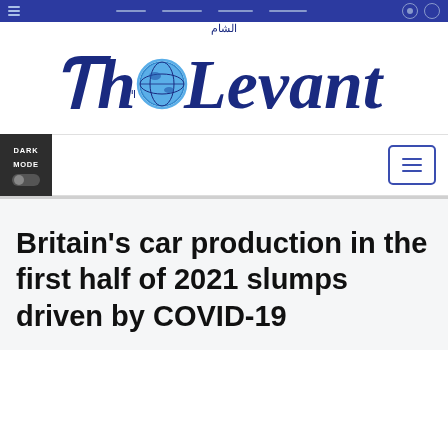Navigation bar
[Figure (logo): The Levant newspaper logo in gothic/blackletter font with a globe replacing the letter 'o', Arabic text above, dark navy blue color]
Britain's car production in the first half of 2021 slumps driven by COVID-19